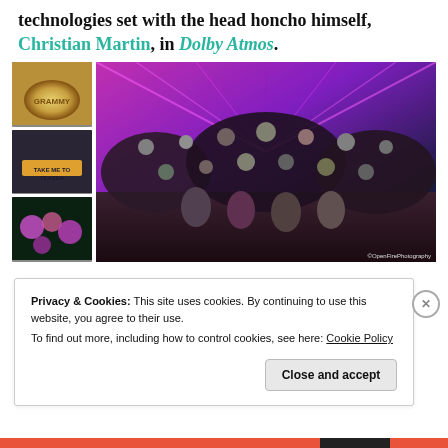technologies set with the head honcho himself, Christian Martin, in Dolby Atmos.
[Figure (photo): Collage of photos: a gold award medal, a t-shirt reading 'Take me to Teazda', a floral design, and a large group photo of many people celebrating on a colorful stage with pink/purple neon lighting, watermarked ©OpenFirePhotography]
Privacy & Cookies: This site uses cookies. By continuing to use this website, you agree to their use.
To find out more, including how to control cookies, see here: Cookie Policy
Close and accept